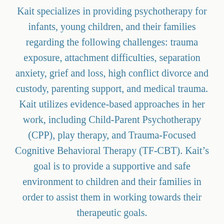Kait specializes in providing psychotherapy for infants, young children, and their families regarding the following challenges: trauma exposure, attachment difficulties, separation anxiety, grief and loss, high conflict divorce and custody, parenting support, and medical trauma. Kait utilizes evidence-based approaches in her work, including Child-Parent Psychotherapy (CPP), play therapy, and Trauma-Focused Cognitive Behavioral Therapy (TF-CBT). Kait's goal is to provide a supportive and safe environment to children and their families in order to assist them in working towards their therapeutic goals.